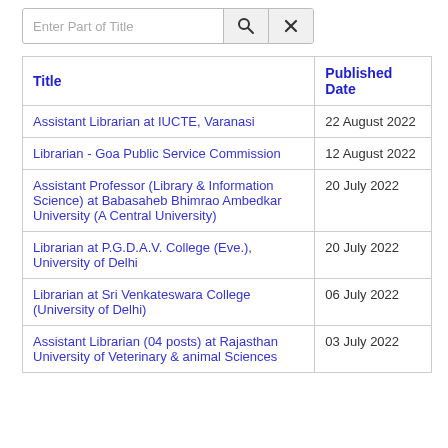[Figure (screenshot): Search bar with placeholder 'Enter Part of Title', a search icon button, and a clear (X) button]
| Title | Published Date |
| --- | --- |
| Assistant Librarian at IUCTE, Varanasi | 22 August 2022 |
| Librarian - Goa Public Service Commission | 12 August 2022 |
| Assistant Professor (Library & Information Science) at Babasaheb Bhimrao Ambedkar University (A Central University) | 20 July 2022 |
| Librarian at P.G.D.A.V. College (Eve.), University of Delhi | 20 July 2022 |
| Librarian at Sri Venkateswara College (University of Delhi) | 06 July 2022 |
| Assistant Librarian (04 posts) at Rajasthan University of Veterinary & animal Sciences | 03 July 2022 |